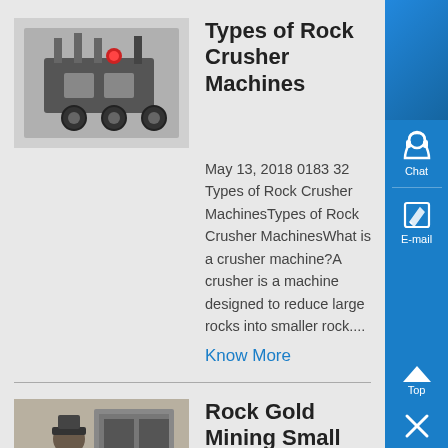[Figure (photo): Rock crusher machine, mechanical industrial equipment photo]
Types of Rock Crusher Machines
May 13, 2018 0183 32 Types of Rock Crusher MachinesTypes of Rock Crusher MachinesWhat is a crusher machine?A crusher is a machine designed to reduce large rocks into smaller rock....
Know More
[Figure (photo): Person operating gold mining rock crusher equipment]
Rock Gold Mining Small Diesel Gold Hammer crusher ,
Jaw crusher Cone crusher Hammer crusher Impact crusher Portable stone crusher Roller crusher Vsi crusher machine Stone Crushing Plant Show sub menu Aggregate crushing plant Construction waste recycling plant Mineral Ore Processing Plant Sand Manufacturing Plant